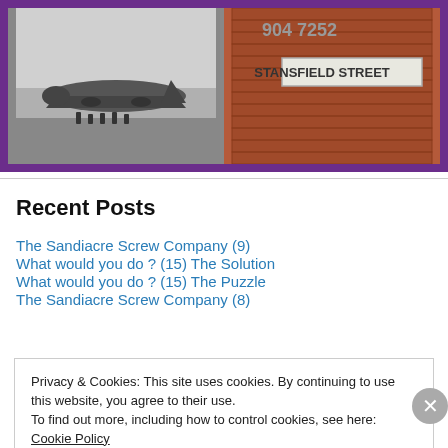[Figure (photo): A photo banner showing two images: left side shows a black-and-white photo of a WWII-era bomber aircraft with crew members standing in front of it; right side shows a brick wall with a street sign reading 'STANSFIELD STREET' and numbers '904 7252' partially visible above.]
Recent Posts
The Sandiacre Screw Company (9)
What would you do ? (15) The Solution
What would you do ? (15) The Puzzle
The Sandiacre Screw Company (8)
Privacy & Cookies: This site uses cookies. By continuing to use this website, you agree to their use.
To find out more, including how to control cookies, see here: Cookie Policy